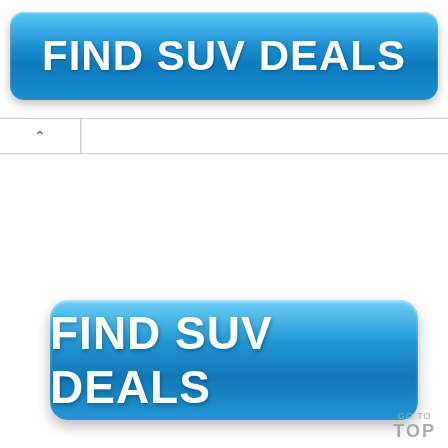[Figure (screenshot): A bright blue rounded rectangular button with bold white text reading FIND SUV DEALS, positioned at the top of the page with a gradient blue background and drop shadow.]
[Figure (screenshot): A collapsed accordion/navigation bar with a chevron-up toggle on the left side and a white content area to the right.]
[Figure (screenshot): A second bright blue rounded rectangular button with bold white text reading FIND SUV DEALS, larger than the first, positioned in the lower portion of the page.]
GO TO TOP